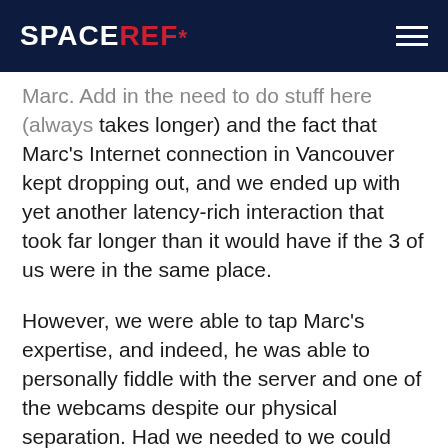SPACEREF*
Marc. Add in the need to do stuff here (always takes longer) and the fact that Marc's Internet connection in Vancouver kept dropping out, and we ended up with yet another latency-rich interaction that took far longer than it would have if the 3 of us were in the same place.
However, we were able to tap Marc's expertise, and indeed, he was able to personally fiddle with the server and one of the webcams despite our physical separation. Had we needed to we could have had a webcam on each computer to send images of